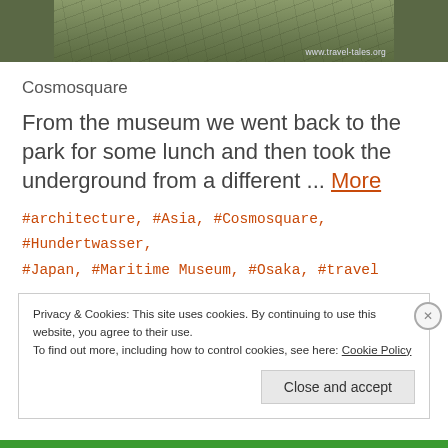[Figure (photo): Partial photo of an outdoor scene with grassy/plant elements and a sign or placard, with watermark 'www.travel-tales.org' visible in lower right corner.]
Cosmosquare
From the museum we went back to the park for some lunch and then took the underground from a different ... More
#architecture, #Asia, #Cosmosquare, #Hundertwasser, #Japan, #Maritime Museum, #Osaka, #travel
Privacy & Cookies: This site uses cookies. By continuing to use this website, you agree to their use.
To find out more, including how to control cookies, see here: Cookie Policy
[Close and accept]